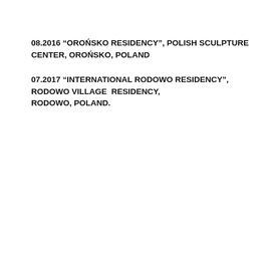08.2016 “OROŃSKO RESIDENCY”, POLISH SCULPTURE CENTER, OROŃSKO, POLAND
07.2017 “INTERNATIONAL RODOWO RESIDENCY”, RODOWO VILLAGE  RESIDENCY, RODOWO, POLAND.